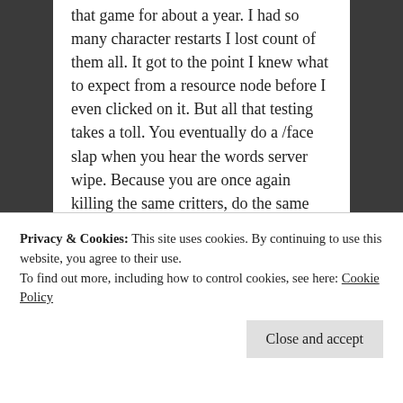that game for about a year. I had so many character restarts I lost count of them all. It got to the point I knew what to expect from a resource node before I even clicked on it. But all that testing takes a toll. You eventually do a /face slap when you hear the words server wipe. Because you are once again killing the same critters, do the same quest, and making the same things you have made a hundred times over.
And I can't help but think that this is where the author is too. The new car smell has long faded from the game for him/her and now you struggle just to find a reason to login. A game he/she might have enjoyed for 6 months to a year, at
Privacy & Cookies: This site uses cookies. By continuing to use this website, you agree to their use.
To find out more, including how to control cookies, see here: Cookie Policy
Close and accept